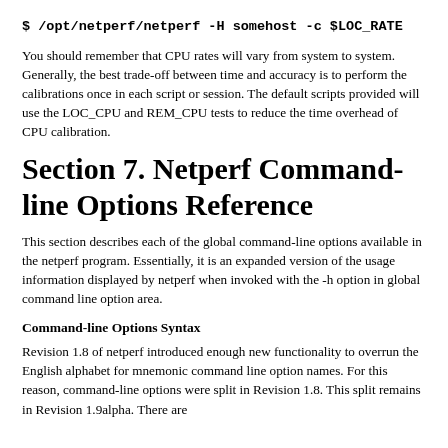$ /opt/netperf/netperf -H somehost -c $LOC_RATE
You should remember that CPU rates will vary from system to system. Generally, the best trade-off between time and accuracy is to perform the calibrations once in each script or session. The default scripts provided will use the LOC_CPU and REM_CPU tests to reduce the time overhead of CPU calibration.
Section 7. Netperf Command-line Options Reference
This section describes each of the global command-line options available in the netperf program. Essentially, it is an expanded version of the usage information displayed by netperf when invoked with the -h option in global command line option area.
Command-line Options Syntax
Revision 1.8 of netperf introduced enough new functionality to overrun the English alphabet for mnemonic command line option names. For this reason, command-line options were split in Revision 1.8. This split remains in Revision 1.9alpha. There are